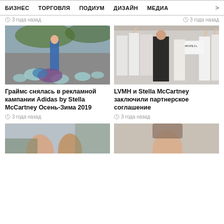БИЗНЕС  ТОРГОВЛЯ  ПОДИУМ  ДИЗАЙН  МЕДИА  >
3 года назад
3 года назад
[Figure (photo): Fashion photo of a model in colorful attire standing on rocks outdoors for Adidas by Stella McCartney campaign]
Граймс снялась в рекламной кампании Adidas by Stella McCartney Осень-Зима 2019
3 года назад
[Figure (photo): Group photo of people at LVMH and Stella McCartney partnership event, woman in black dress in center]
LVMH и Stella McCartney заключили партнерское соглашение
3 года назад
[Figure (photo): Partial bottom-left photo of people outdoors]
[Figure (photo): Partial bottom-right photo of a person]